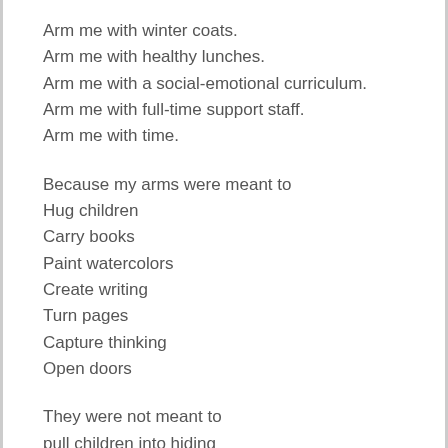Arm me with winter coats.
Arm me with healthy lunches.
Arm me with a social-emotional curriculum.
Arm me with full-time support staff.
Arm me with time.
Because my arms were meant to
Hug children
Carry books
Paint watercolors
Create writing
Turn pages
Capture thinking
Open doors
They were not meant to
pull children into hiding